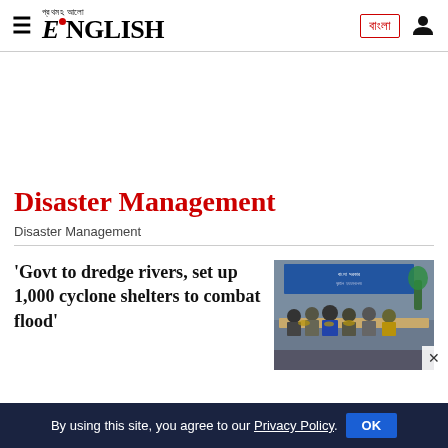Prothom Alo English — navigation header with hamburger menu, logo, Bangla button, user icon
Disaster Management
Disaster Management
'Govt to dredge rivers, set up 1,000 cyclone shelters to combat flood'
[Figure (photo): Meeting/conference room scene with people seated around a table, appearing to be a government or policy meeting, with a banner/backdrop visible in the background.]
By using this site, you agree to our Privacy Policy. OK